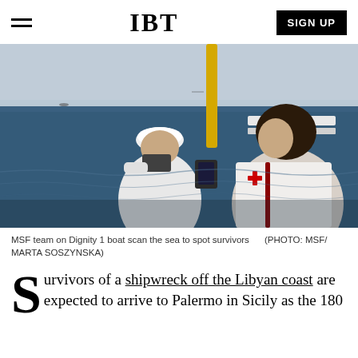IBT | SIGN UP
[Figure (photo): MSF team members on the Dignity 1 boat scanning the sea to spot survivors, viewed from behind, Mediterranean sea in background]
MSF team on Dignity 1 boat scan the sea to spot survivors   (PHOTO: MSF/ MARTA SOSZYNSKA)
Survivors of a shipwreck off the Libyan coast are expected to arrive to Palermo in Sicily as the 180 confirmed dead...